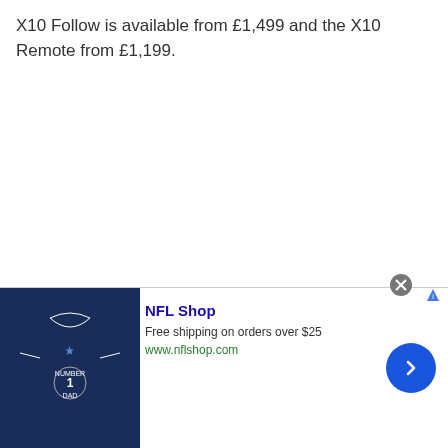X10 Follow is available from £1,499 and the X10 Remote from £1,199.
[Figure (other): Advertisement banner for NFL Shop showing a navy blue Dallas Cowboys jersey with 'NUMBER 1 DAD' text, NFL Shop logo, free shipping offer, website URL, and a blue circular arrow button]